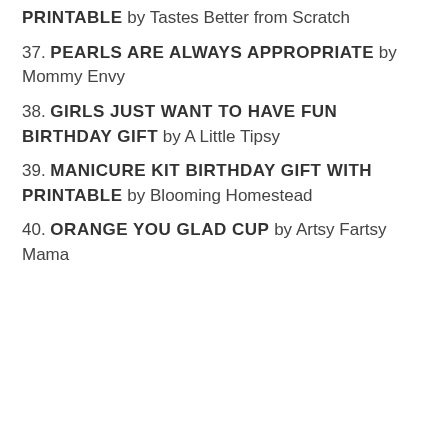PRINTABLE by Tastes Better from Scratch
37. PEARLS ARE ALWAYS APPROPRIATE by Mommy Envy
38. GIRLS JUST WANT TO HAVE FUN BIRTHDAY GIFT by A Little Tipsy
39. MANICURE KIT BIRTHDAY GIFT WITH PRINTABLE by Blooming Homestead
40. ORANGE YOU GLAD CUP by Artsy Fartsy Mama